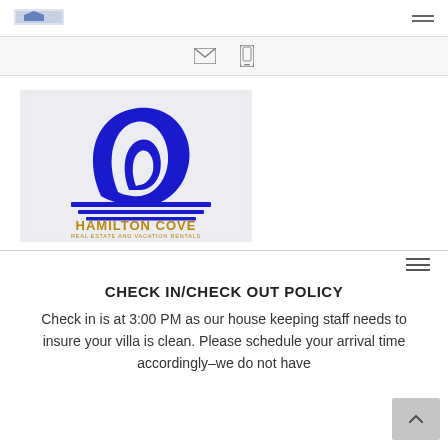[logo] [hamburger menu]
[Figure (other): Navigation bar with envelope (email) icon and phone icon on light gray background]
[Figure (logo): Hamilton Cove Real Estate and Vacation Rentals logo — blue stylized wave/sail graphic above gold text reading HAMILTON COVE and smaller gold text REAL ESTATE AND VACATION RENTALS on a light gray background]
CHECK IN/CHECK OUT POLICY
Check in is at 3:00 PM as our house keeping staff needs to insure your villa is clean. Please schedule your arrival time accordingly–we do not have